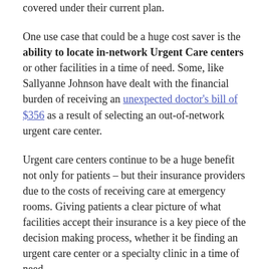covered under their current plan.
One use case that could be a huge cost saver is the ability to locate in-network Urgent Care centers or other facilities in a time of need. Some, like Sallyanne Johnson have dealt with the financial burden of receiving an unexpected doctor's bill of $356 as a result of selecting an out-of-network urgent care center.
Urgent care centers continue to be a huge benefit not only for patients – but their insurance providers due to the costs of receiving care at emergency rooms. Giving patients a clear picture of what facilities accept their insurance is a key piece of the decision making process, whether it be finding an urgent care center or a specialty clinic in a time of need.
The next paragraph begins here...